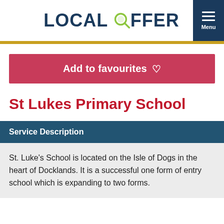LOCAL OFFER
Add to favourites ♡
St Lukes Primary School
Service Description
St. Luke's School is located on the Isle of Dogs in the heart of Docklands. It is a successful one form of entry school which is expanding to two forms.